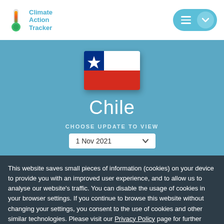Climate Action Tracker
[Figure (logo): Climate Action Tracker logo with thermometer icon and text]
[Figure (illustration): Chile national flag — blue left band with white star, white upper right band, red lower right band]
Chile
CHOOSE UPDATE TO VIEW
1 Nov 2021
This website saves small pieces of information (cookies) on your device to provide you with an improved user experience, and to allow us to analyse our website's traffic. You can disable the usage of cookies in your browser settings. If you continue to browse this website without changing your settings, you consent to the use of cookies and other similar technologies. Please visit our Privacy Policy page for further details.
GOT IT